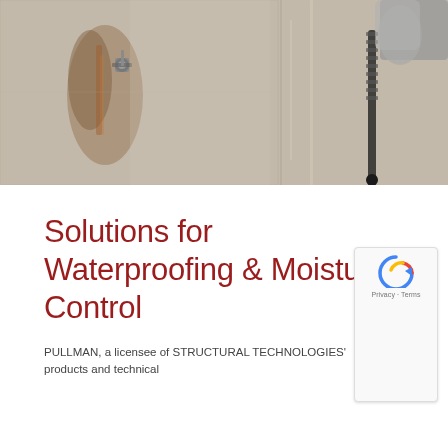[Figure (photo): Close-up photograph of a concrete wall with water stains and rust marks, showing drilling or injection equipment — a metal rod/hose on the right side held by a gloved hand, and a bolt or anchor on the left side, against a weathered beige/grey concrete surface.]
Solutions for Waterproofing & Moisture Control
PULLMAN, a licensee of STRUCTURAL TECHNOLOGIES' products and technical